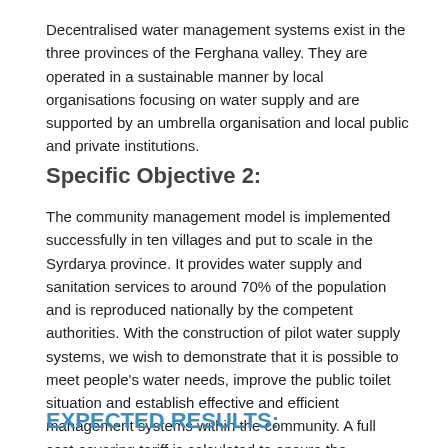Decentralised water management systems exist in the three provinces of the Ferghana valley. They are operated in a sustainable manner by local organisations focusing on water supply and are supported by an umbrella organisation and local public and private institutions.
Specific Objective  2:
The community management model is implemented successfully in ten villages and put to scale in the Syrdarya province. It provides water supply and sanitation services to around 70% of the population and is reproduced nationally by the competent authorities. With the construction of pilot water supply systems, we wish to demonstrate that it is possible to meet people's water needs, improve the public toilet situation and establish effective and efficient management systems within the community. A full cost-covering tariff is calculated to ensure the sustainable management of the system over time and to enable it to be expanded.
EXPECTED RESULTS: